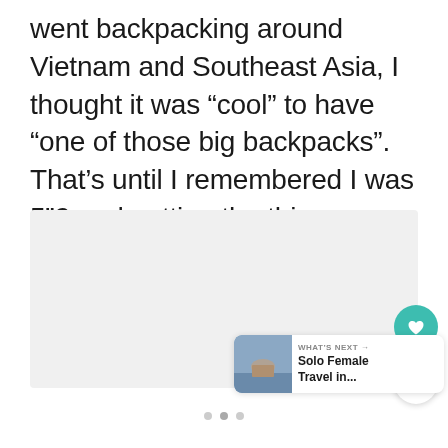went backpacking around Vietnam and Southeast Asia, I thought it was “cool” to have “one of those big backpacks”. That’s until I remembered I was 5”2 and putting the thing on almost caused me to topple over backward!
[Figure (photo): A light gray placeholder image area representing a photo within the article]
[Figure (other): UI elements: heart/like button (teal circle with heart icon), share button (white circle with share icon), and a 'What's Next' card showing 'Solo Female Travel in...' with a thumbnail image and navigation dots]